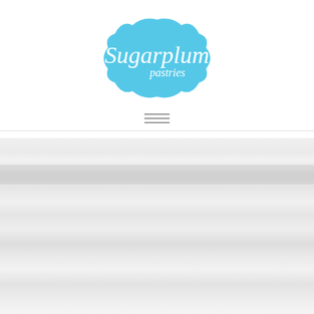[Figure (logo): Sugarplum Pastries logo: sky blue decorative badge/frame with white script and sans text reading 'Sugarplum pastries']
[Figure (other): Hamburger menu icon — three horizontal grey lines]
[Figure (photo): Blurred/out-of-focus hero background image showing pastry products in light grey tones]
CONFECTIONER INTERACTION